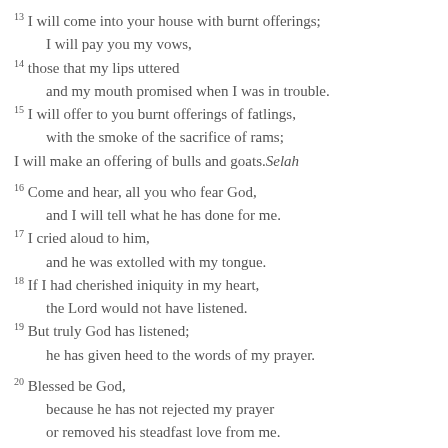13 I will come into your house with burnt offerings; I will pay you my vows, 14 those that my lips uttered and my mouth promised when I was in trouble. 15 I will offer to you burnt offerings of fatlings, with the smoke of the sacrifice of rams; I will make an offering of bulls and goats. Selah 16 Come and hear, all you who fear God, and I will tell what he has done for me. 17 I cried aloud to him, and he was extolled with my tongue. 18 If I had cherished iniquity in my heart, the Lord would not have listened. 19 But truly God has listened; he has given heed to the words of my prayer. 20 Blessed be God, because he has not rejected my prayer or removed his steadfast love from me.